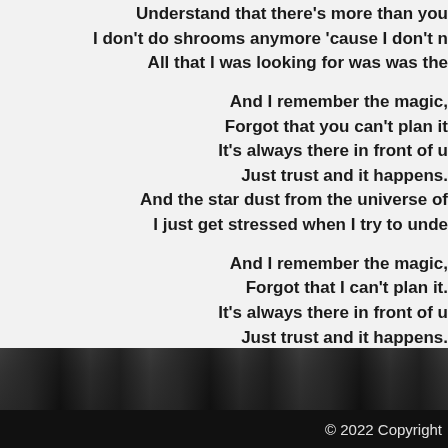Understand that there's more than you
I don't do shrooms anymore 'cause I don't n
All that I was looking for was was the

And I remember the magic,
Forgot that you can't plan it
It's always there in front of u
Just trust and it happens.
And the star dust from the universe of
I just get stressed when I try to unde

And I remember the magic,
Forgot that I can't plan it.
It's always there in front of u
Just trust and it happens.
And the star dust from the universe of
It's always there, you can't try to unde
[Figure (photo): Dark photo strip at the bottom of the page showing a dark scene, partially visible]
© 2022 Copyright